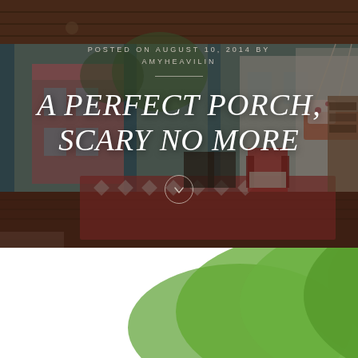[Figure (photo): A covered front porch with dark wood ceiling, blue columns, red patterned rug, red chair, hanging swing with floral pillows, pink house visible in background, rocking chairs. Atmospheric, slightly dark/moody toned photo.]
POSTED ON AUGUST 10, 2014 BY AMYHEAVILIN
A PERFECT PORCH, SCARY NO MORE
[Figure (photo): Lower portion of the page showing a white background with green tree foliage visible at the bottom, partially cut off.]